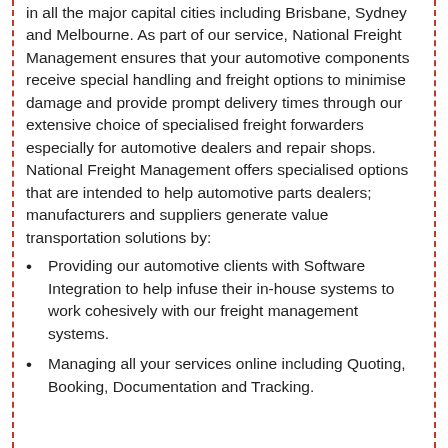in all the major capital cities including Brisbane, Sydney and Melbourne. As part of our service, National Freight Management ensures that your automotive components receive special handling and freight options to minimise damage and provide prompt delivery times through our extensive choice of specialised freight forwarders especially for automotive dealers and repair shops. National Freight Management offers specialised options that are intended to help automotive parts dealers; manufacturers and suppliers generate value transportation solutions by:
Providing our automotive clients with Software Integration to help infuse their in-house systems to work cohesively with our freight management systems.
Managing all your services online including Quoting, Booking, Documentation and Tracking.